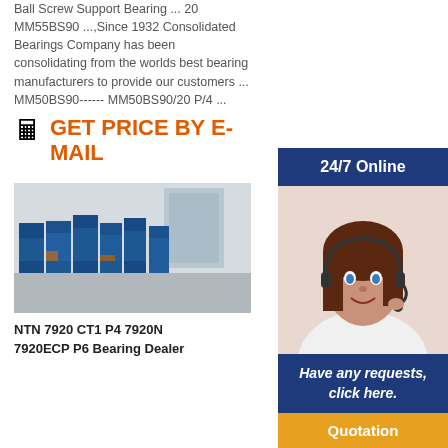Ball Screw Support Bearing ... 20 MM55BS90 ...,Since 1932 Consolidated Bearings Company has been consolidating from the worlds best bearing manufacturers to provide our customers ... MM50BS90------ MM50BS90/20 P/4 ...
GET PRICE BY E-MAIL
[Figure (photo): Warehouse photo showing stacks of blue bearing packages]
[Figure (infographic): 24/7 Online customer service banner with agent photo, 'Have any requests, click here.' text, and Quotation button]
NTN 7920 CT1 P4 7920N 7920ECP P6 Bearing Dealer